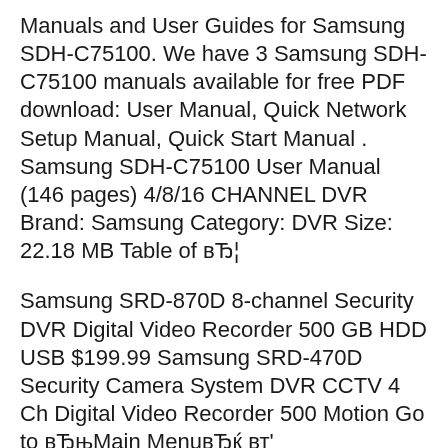Manuals and User Guides for Samsung SDH-C75100. We have 3 Samsung SDH-C75100 manuals available for free PDF download: User Manual, Quick Network Setup Manual, Quick Start Manual . Samsung SDH-C75100 User Manual (146 pages) 4/8/16 CHANNEL DVR Brand: Samsung Category: DVR Size: 22.18 MB Table of вЂ¦
Samsung SRD-870D 8-channel Security DVR Digital Video Recorder 500 GB HDD USB $199.99 Samsung SRD-470D Security Camera System DVR CCTV 4 Ch Digital Video Recorder 500 Motion Go to вЂњMain MenuвЂќ вт' вЂњParameterвЂќ вт' вЂњAlarmвЂќ вт' вЂњMotionвЂќ to enter into the